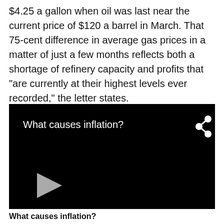$4.25 a gallon when oil was last near the current price of $120 a barrel in March. That 75-cent difference in average gas prices in a matter of just a few months reflects both a shortage of refinery capacity and profits that "are currently at their highest levels ever recorded," the letter states.
[Figure (screenshot): Black video player thumbnail with the title 'What causes inflation?' in white text, a share icon in the top right, and a grey play button in the lower left area.]
What causes inflation?